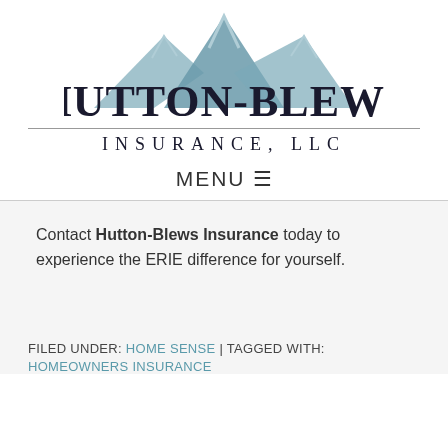[Figure (logo): Hutton-Blews Insurance LLC logo with mountain peaks illustration above the company name]
MENU ☰
Contact Hutton-Blews Insurance today to experience the ERIE difference for yourself.
FILED UNDER: HOME SENSE | TAGGED WITH:
HOMEOWNERS INSURANCE